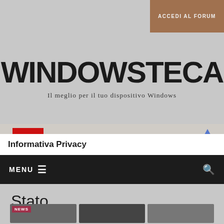ACCEDI AL FORUM
[Figure (logo): WINDOWSTECA logo with tagline 'Il meglio per il tuo dispositivo Windows']
[Figure (screenshot): Advertisement banner: Buy Online, Pick Up In-Store - CVS]
Informativa Privacy
MENU
Stato
[Figure (photo): Three thumbnail images - NEWS category and two others]